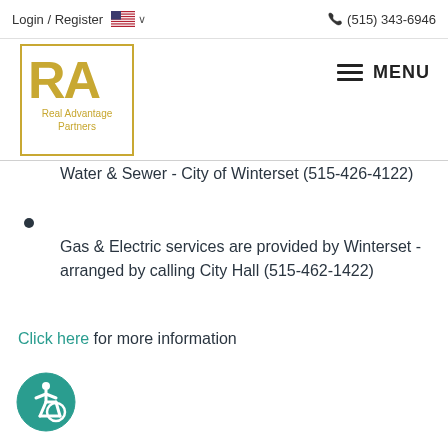Login / Register  🇺🇸 ∨   (515) 343-6946
[Figure (logo): Real Advantage Partners logo — gold RA letters inside gold border rectangle with company name below]
MENU
Water & Sewer - City of Winterset (515-426-4122)
Gas & Electric services are provided by Winterset - arranged by calling City Hall (515-462-1422)
Click here for more information
[Figure (illustration): Wheelchair accessibility icon — teal circle with white wheelchair user graphic]